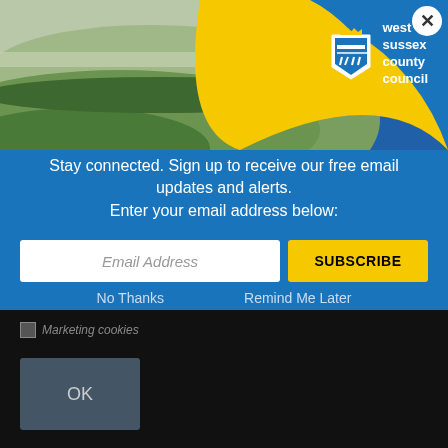[Figure (screenshot): West Sussex County Council email subscription modal popup over a dark background. Top portion shows a countryside landscape photo with green rolling hills and a yellow swoosh with the West Sussex County Council logo (shield crest and text). A close button (X) is in the top right corner. The modal has a blue background with white text: 'Stay connected. Sign up to receive our free email updates and alerts. Enter your email address below:' followed by an email input field and a yellow SUBSCRIBE button. Below are 'No Thanks' and 'Remind Me Later' links. Behind the modal, the dark page background shows a 'Marketing cookies' checkbox and an 'OK' button.]
Stay connected. Sign up to receive our free email updates and alerts.
Enter your email address below:
Email Address
SUBSCRIBE
No Thanks
Remind Me Later
Marketing cookies
OK